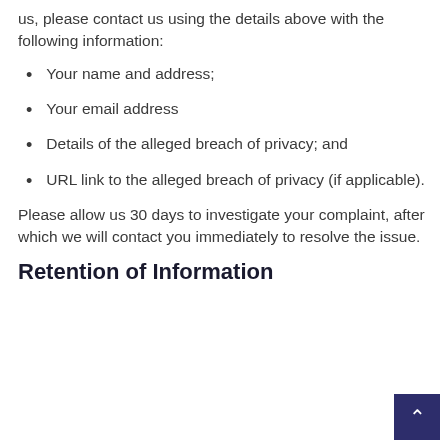us, please contact us using the details above with the following information:
Your name and address;
Your email address
Details of the alleged breach of privacy; and
URL link to the alleged breach of privacy (if applicable).
Please allow us 30 days to investigate your complaint, after which we will contact you immediately to resolve the issue.
Retention of Information